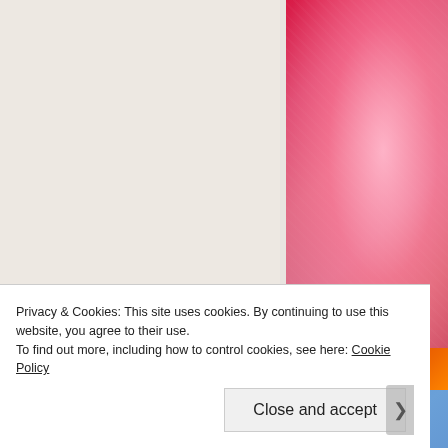[Figure (photo): Top-right: close-up photo of pink lipstick or cosmetic product with glossy texture, red accents at top]
[Figure (screenshot): Blue banner with text 'Simplified pricing for everything y...' and a pink 'Build Your Website' button]
[Figure (photo): Bottom-right: red/orange glowing photo, partially visible]
Privacy & Cookies: This site uses cookies. By continuing to use this website, you agree to their use.
To find out more, including how to control cookies, see here: Cookie Policy
Close and accept